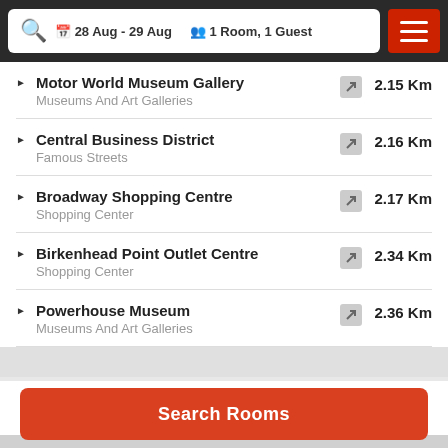28 Aug - 29 Aug | 1 Room, 1 Guest
Motor World Museum Gallery | Museums And Art Galleries | 2.15 Km
Central Business District | Famous Streets | 2.16 Km
Broadway Shopping Centre | Shopping Center | 2.17 Km
Birkenhead Point Outlet Centre | Shopping Center | 2.34 Km
Powerhouse Museum | Museums And Art Galleries | 2.36 Km
Facilities
Search Rooms